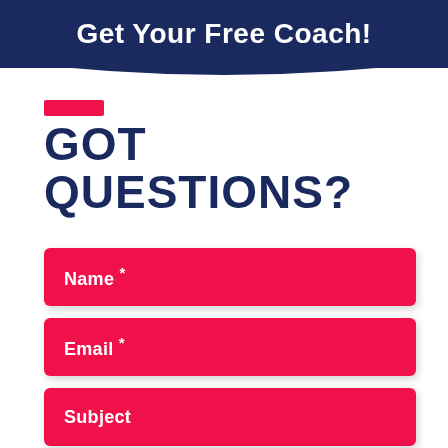Get Your Free Coach!
GOT QUESTIONS?
Name *
Email *
Subject
Message